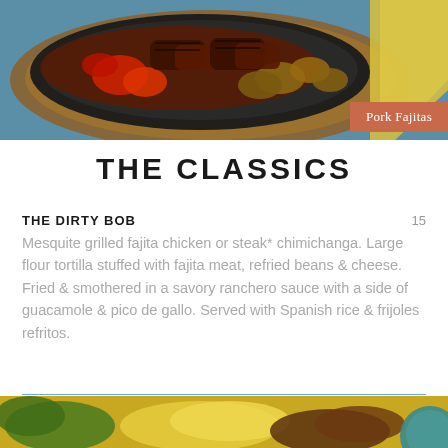[Figure (photo): Sizzling pork fajitas on a cast iron skillet with peppers and mushrooms, served on a wooden board with a yellow napkin on a blue table]
Pork Fajitas
THE CLASSICS
THE DIRTY BOB
15
Mesquite grilled fajita chicken or steak* chimichanga. Large flour tortilla stuffed with fajita meat, refried beans & cheese. Fried & smothered in a savory ranchero sauce with a side of guacamole & pico de gallo. Served with Spanish rice & frijoles refritos.
[Figure (photo): Partial view of another food dish at the bottom of the page]